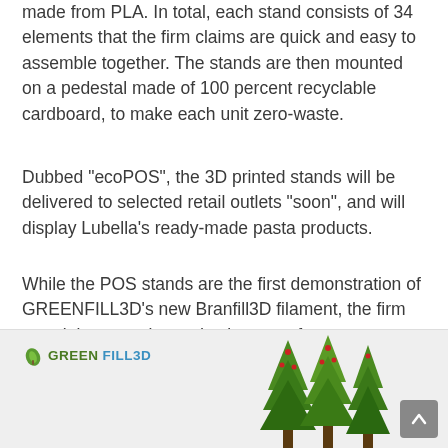made from PLA. In total, each stand consists of 34 elements that the firm claims are quick and easy to assemble together. The stands are then mounted on a pedestal made of 100 percent recyclable cardboard, to make each unit zero-waste.
Dubbed “ecoPOS”, the 3D printed stands will be delivered to selected retail outlets “soon”, and will display Lubella’s ready-made pasta products.
While the POS stands are the first demonstration of GREENFILL3D’s new Branfill3D filament, the firm says it is currently conducting tests for an automotive customer and plans to successfully deploy the material to other industries, too.
[Figure (logo): GREENFILL3D logo with green leaf icon and company name in green and blue text, shown in a light grey image strip at the bottom of the page with decorative green tree/plant imagery on the right side]